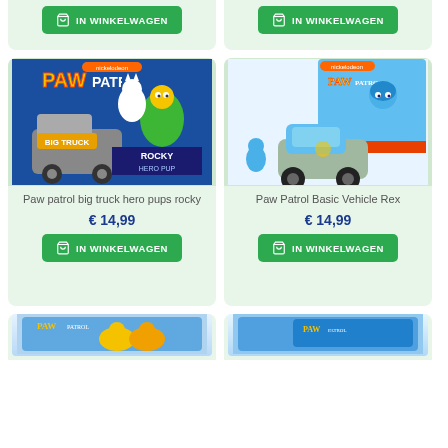[Figure (other): Top partial product cards showing green 'IN WINKELWAGEN' buttons]
[Figure (photo): Paw Patrol Big Truck Hero Pups Rocky toy in packaging]
Paw patrol big truck hero pups rocky
€ 14,99
IN WINKELWAGEN
[Figure (photo): Paw Patrol Basic Vehicle Rex toy with figure and vehicle]
Paw Patrol Basic Vehicle Rex
€ 14,99
IN WINKELWAGEN
[Figure (photo): Bottom partial product cards showing toy packaging, partially visible]